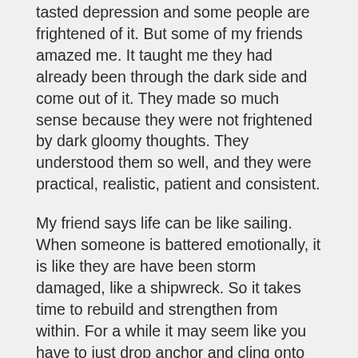tasted depression and some people are frightened of it. But some of my friends amazed me. It taught me they had already been through the dark side and come out of it. They made so much sense because they were not frightened by dark gloomy thoughts. They understood them so well, and they were practical, realistic, patient and consistent.
My friend says life can be like sailing. When someone is battered emotionally, it is like they are have been storm damaged, like a shipwreck. So it takes time to rebuild and strengthen from within. For a while it may seem like you have to just drop anchor and cling onto life with all your might. But as you rebuild yourself, hopefully with the help of some good people around, there comes a point where you can heave the anchor up and lift up the sails and head out to sea again.
I don't know if any of this is making sense. All I know is that something like one third of people will suffer from emotional illness at some point in